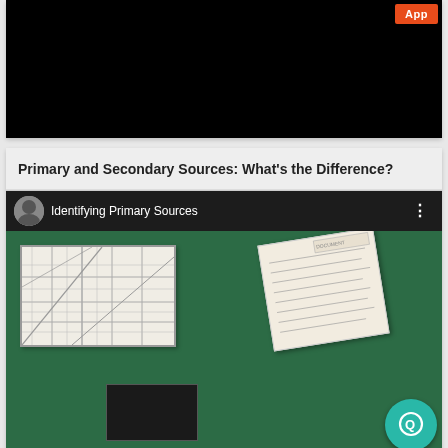[Figure (screenshot): App video card with black video area and orange 'App' button in top right corner]
Primary and Secondary Sources: What's the Difference?
[Figure (screenshot): YouTube video thumbnail showing 'Identifying Primary Sources' with a map image, handwritten letter, and a teal chat bubble icon]